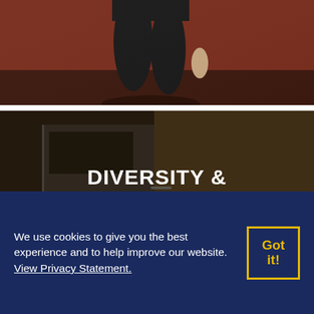[Figure (photo): Partial view of a person in dark athletic outfit against a reddish-brown background. Only lower body/legs visible. A yellow refresh/sync icon is in the bottom-right corner of the image.]
[Figure (photo): A smiling woman with dark curly hair, wearing a white floral top, photographed in what appears to be an office or locker room setting with wood paneling and glass partition. The image has a dark overlay. The text 'DIVERSITY &' appears in large bold white uppercase letters overlaid at the bottom of the image. Behind the cookie banner, 'MAJOR LEAGUE BASEBALL' watermark text is faintly visible.]
We use cookies to give you the best experience and to help improve our website. View Privacy Statement.
Got it!